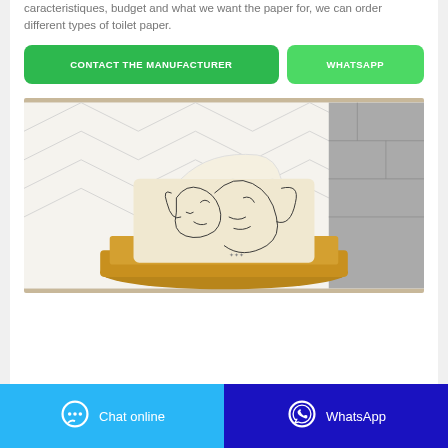caracteristiques, budget and what we want the paper for, we can order different types of toilet paper.
[Figure (other): Two call-to-action buttons: 'CONTACT THE MANUFACTURER' (green, large) and 'WHATSAPP' (light green, smaller)]
[Figure (photo): A tissue box with artistic face illustration packaging, placed on a wooden tray/board against a white chevron-tiled wall background]
[Figure (other): Two footer buttons: 'Chat online' (light blue with chat bubble icon) and 'WhatsApp' (dark blue with WhatsApp icon)]